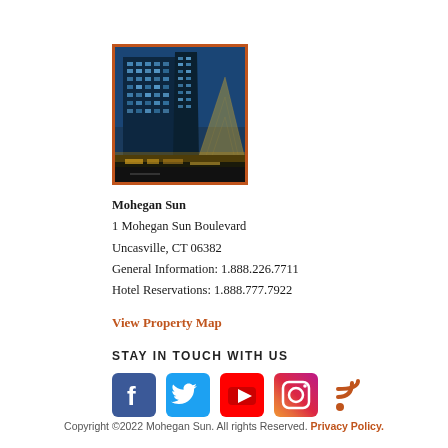[Figure (photo): Night photo of Mohegan Sun hotel building — tall modern glass tower and pyramid-shaped structure lit up at night against a blue sky]
Mohegan Sun
1 Mohegan Sun Boulevard
Uncasville, CT 06382
General Information: 1.888.226.7711
Hotel Reservations: 1.888.777.7922
View Property Map
STAY IN TOUCH WITH US
[Figure (infographic): Social media icons: Facebook (blue), Twitter (blue bird), YouTube (red), Instagram (pink/purple gradient), RSS (orange)]
Copyright ©2022 Mohegan Sun. All rights Reserved. Privacy Policy.